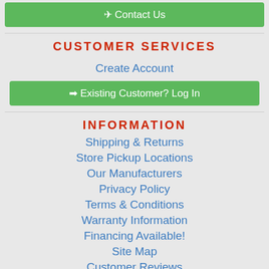Contact Us
CUSTOMER SERVICES
Create Account
Existing Customer? Log In
INFORMATION
Shipping & Returns
Store Pickup Locations
Our Manufacturers
Privacy Policy
Terms & Conditions
Warranty Information
Financing Available!
Site Map
Customer Reviews